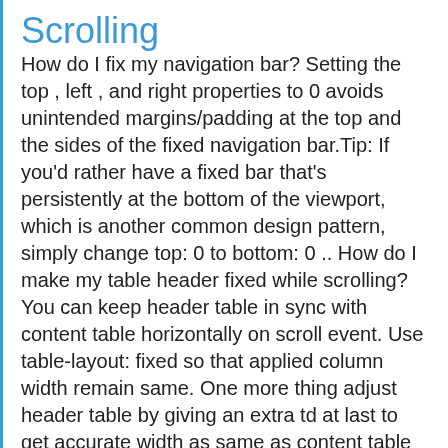Scrolling
How do I fix my navigation bar? Setting the top , left , and right properties to 0 avoids unintended margins/padding at the top and the sides of the fixed navigation bar.Tip: If you'd rather have a fixed bar that's persistently at the bottom of the viewport, which is another common design pattern, simply change top: 0 to bottom: 0 .. How do I make my table header fixed while scrolling? You can keep header table in sync with content table horizontally on scroll event. Use table-layout: fixed so that applied column width remain same. One more thing adjust header table by giving an extra td at last to get accurate width as same as content table after getting a scroll bar on content table. How do I get rid of the scroll bar in CSS? Add overflow: hidden; to hide both the horizontal and vertical scrollbar body { overflow: hidden;